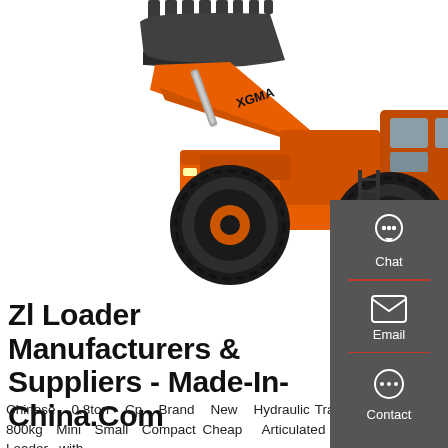[Figure (photo): Orange XGMA brand wheel loader (front loader) with raised bucket, large black tires, photographed on white background]
Zl Loader Manufacturers & Suppliers - Made-In-China.Com
Chinese 0.8ton Cp Brand New Hydraulic Transmission Zl 08 800kg Mini Small Compact Cheap Articulated Front Wheel Loader with